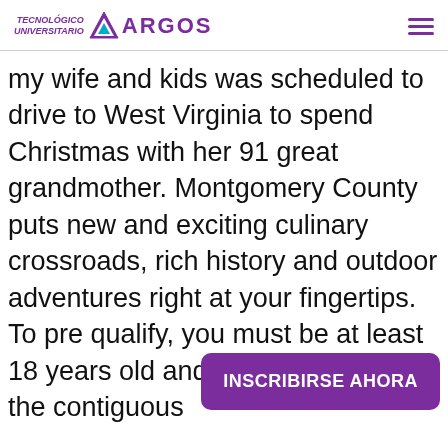TECNOLÓGICO UNIVERSITARIO ARGOS
my wife and kids was scheduled to drive to West Virginia to spend Christmas with her 91 great grandmother. Montgomery County puts new and exciting culinary crossroads, rich history and outdoor adventures right at your fingertips. To pre qualify, you must be at least 18 years old and hav address within the contiguous
INSCRIBIRSE AHORA